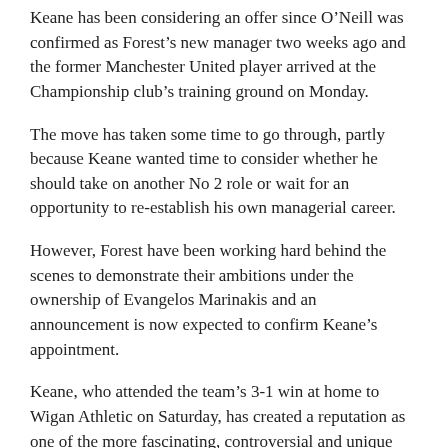Keane has been considering an offer since O'Neill was confirmed as Forest's new manager two weeks ago and the former Manchester United player arrived at the Championship club's training ground on Monday.
The move has taken some time to go through, partly because Keane wanted time to consider whether he should take on another No 2 role or wait for an opportunity to re-establish his own managerial career.
However, Forest have been working hard behind the scenes to demonstrate their ambitions under the ownership of Evangelos Marinakis and an announcement is now expected to confirm Keane's appointment.
Keane, who attended the team's 3-1 win at home to Wigan Athletic on Saturday, has created a reputation as one of the more fascinating, controversial and unique characters within the sport and O'Neill made it clear during his official unveiling why he wanted him back by his side. "I would dearly like him to join us," O'Neill said. "Overall, he was great for me, and great for the [Ireland] players, and the genuine truth is that I don't think that we would have qualified for the Euros [Euro 2016] without his presence. I have been unflinching in that